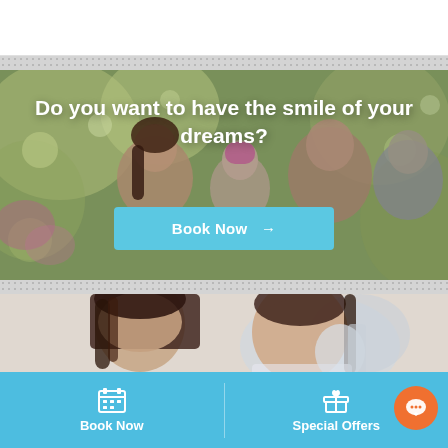[Figure (photo): White header bar at top of mobile webpage]
[Figure (photo): Hero banner with smiling family (woman, girl, man, teenage boy) outdoors with green bokeh background, overlaid with headline text and a blue 'Book Now' button]
Do you want to have the smile of your dreams?
Book Now →
[Figure (photo): Dental office scene showing two women (dentist and patient) looking at something, light blurred background]
Dental Emergency?
(03) 9440 9430
Book Now | Special Offers